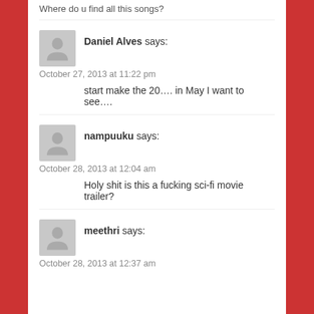Where do u find all this songs?
Daniel Alves says:
October 27, 2013 at 11:22 pm
start make the 20…. in May I want to see….
nampuuku says:
October 28, 2013 at 12:04 am
Holy shit is this a fucking sci-fi movie trailer?
meethri says:
October 28, 2013 at 12:37 am